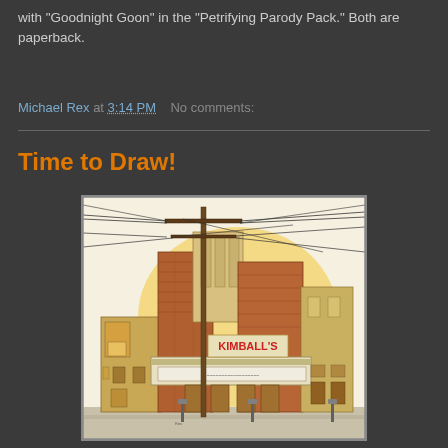with "Goodnight Goon" in the "Petrifying Parody Pack." Both are paperback.
Michael Rex at 3:14 PM   No comments:
Time to Draw!
[Figure (illustration): Hand-drawn ink and watercolor sketch of Kimball's theater building with power lines and utility pole in the foreground. The building has brick facade, marquee sign reading KIMBALL'S, and yellow/orange watercolor wash background.]